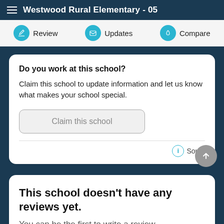Westwood Rural Elementary - 05
Review  Updates  Compare
Do you work at this school?
Claim this school to update information and let us know what makes your school special.
Claim this school
Source
This school doesn't have any reviews yet.
You can be the first to write a review